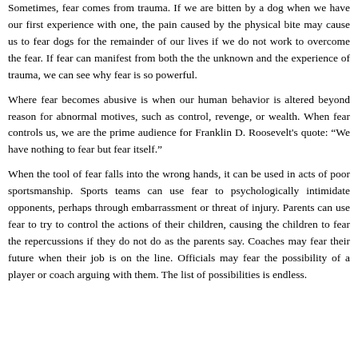Sometimes, fear comes from trauma. If we are bitten by a dog when we have our first experience with one, the pain caused by the physical bite may cause us to fear dogs for the remainder of our lives if we do not work to overcome the fear. If fear can manifest from both the the unknown and the experience of trauma, we can see why fear is so powerful.
Where fear becomes abusive is when our human behavior is altered beyond reason for abnormal motives, such as control, revenge, or wealth. When fear controls us, we are the prime audience for Franklin D. Roosevelt's quote: “We have nothing to fear but fear itself.”
When the tool of fear falls into the wrong hands, it can be used in acts of poor sportsmanship. Sports teams can use fear to psychologically intimidate opponents, perhaps through embarrassment or threat of injury. Parents can use fear to try to control the actions of their children, causing the children to fear the repercussions if they do not do as the parents say. Coaches may fear their future when their job is on the line. Officials may fear the possibility of a player or coach arguing with them. The list of possibilities is endless.